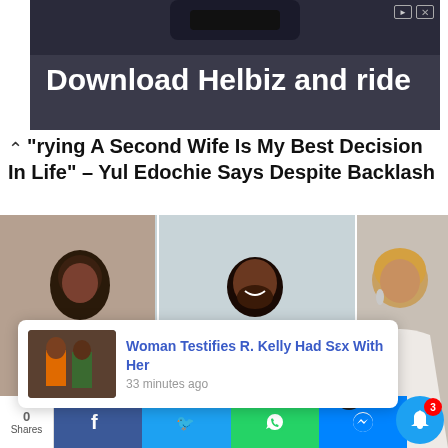[Figure (screenshot): Advertisement banner for Helbiz scooter app with text 'Download Helbiz and ride' on dark background with scooter handlebar image]
"Marrying A Second Wife Is My Best Decision In Life" – Yul Edochie Says Despite Backlash
[Figure (photo): Composite photo of three people: woman in red dress on left, man in red shirt and black blazer in center, woman in white dress on right]
Woman Testifies R. Kelly Had Sεx With Her — 33 minutes ago
Shares | Facebook | Twitter | WhatsApp | Messenger